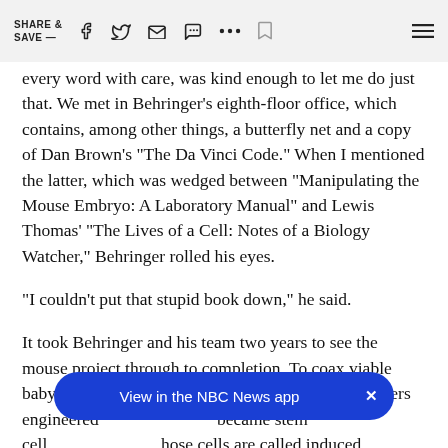SHARE & SAVE —  [social icons: facebook, twitter, email, message, more, bookmark, menu]
every word with care, was kind enough to let me do just that. We met in Behringer's eighth-floor office, which contains, among other things, a butterfly net and a copy of Dan Brown's "The Da Vinci Code." When I mentioned the latter, which was wedged between "Manipulating the Mouse Embryo: A Laboratory Manual" and Lewis Thomas' "The Lives of a Cell: Notes of a Biology Watcher," Behringer rolled his eyes.
"I couldn't put that stupid book down," he said.
It took Behringer and his team two years to see the mouse project through to completion. To coax viable baby mice from the genes of two males, the researchers engineered cells that from male tissue that became stem cells — those cells are called induced pluripotent stem cells, or iPS cells.